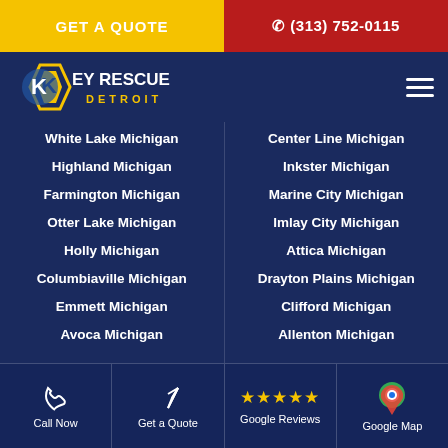GET A QUOTE | (313) 752-0115
[Figure (logo): Key Rescue Detroit logo with diamond key icon and navigation hamburger menu]
White Lake Michigan
Center Line Michigan
Highland Michigan
Inkster Michigan
Farmington Michigan
Marine City Michigan
Otter Lake Michigan
Imlay City Michigan
Holly Michigan
Attica Michigan
Columbiaville Michigan
Drayton Plains Michigan
Emmett Michigan
Clifford Michigan
Avoca Michigan
Allenton Michigan
Call Now | Get a Quote | Google Reviews | Google Map